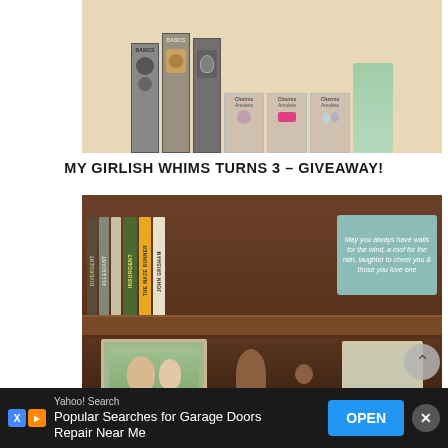[Figure (photo): Photo of jewelry/charm products and book covers displayed on a table, showing pendants and charm packaging with text 'Basics', 'Charms', 'Amulets']
MY GIRLISH WHIMS TURNS 3 - GIVEAWAY!
[Figure (photo): Photo of a wooden bookshelf with books including 'Insurgent', 'The Maze Runner' and others, a teal decorative sign reading 'May you always have walls for the wind, a roof for the rain, laughter to cheer you & those you love one', and family photos on lower shelf]
Yahoo! Search
Popular Searches for Garage Doors Repair Near Me
OPEN